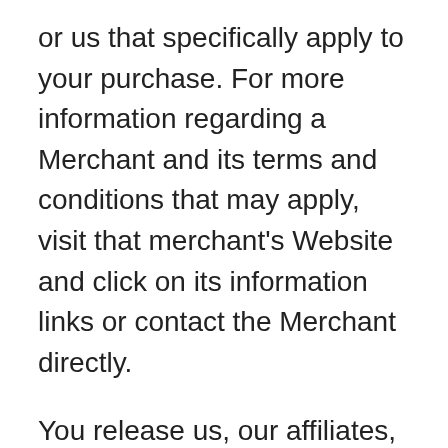or us that specifically apply to your purchase. For more information regarding a Merchant and its terms and conditions that may apply, visit that merchant's Website and click on its information links or contact the Merchant directly.
You release us, our affiliates, our payment processing company, and merchants from any damages that you incur, and agree not to assert any claims against us or them, arising from your purchase through or use of our Website or its Content.